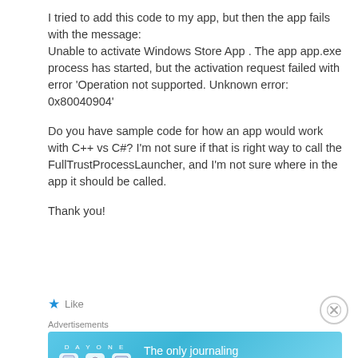I tried to add this code to my app, but then the app fails with the message:
Unable to activate Windows Store App . The app app.exe process has started, but the activation request failed with error 'Operation not supported. Unknown error: 0x80040904'
Do you have sample code for how an app would work with C++ vs C#? I'm not sure if that is right way to call the FullTrustProcessLauncher, and I'm not sure where in the app it should be called.
Thank you!
[Figure (infographic): Advertisement banner for DAY ONE journaling app with blue gradient background, app icons, and tagline 'The only journaling app you'll ever need.']